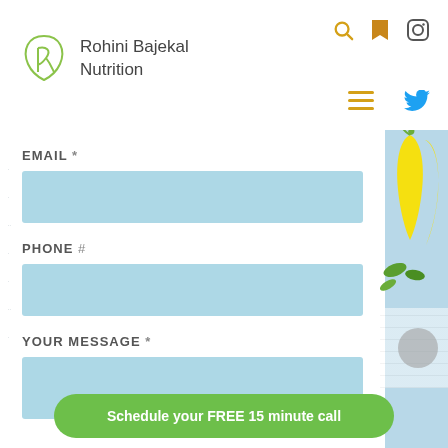[Figure (logo): Rohini Bajekal Nutrition logo with leaf/R icon in olive green]
Rohini Bajekal Nutrition
[Figure (infographic): Navigation icons: search (gold), bookmark (gold), Instagram (gray), hamburger menu (gold), Twitter (blue)]
EMAIL *
PHONE #
YOUR MESSAGE *
Schedule your FREE 15 minute call